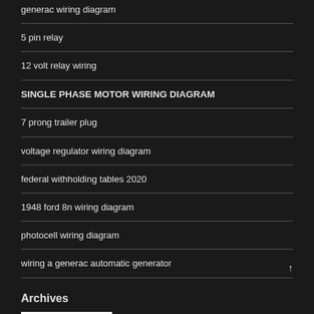generac wiring diagram
5 pin relay
12 volt relay wiring
SINGLE PHASE MOTOR WIRING DIAGRAM
7 prong trailer plug
voltage regulator wiring diagram
federal withholding tables 2020
1948 ford 8n wiring diagram
photocell wiring diagram
wiring a generac automatic generator
Archives